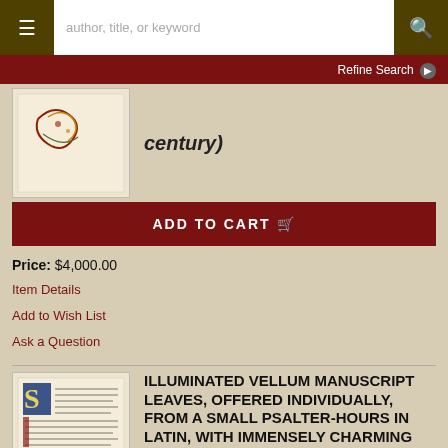[Figure (screenshot): Website navigation bar with hamburger menu, search input placeholder 'author, title, or keyword', and search button]
Refine Search ▶
[Figure (photo): Thumbnail of an illuminated manuscript leaf with decorative initial]
century)
ADD TO CART 🛒
Price: $4,000.00
Item Details
Add to Wish List
Ask a Question
[Figure (photo): Thumbnail of an illuminated vellum manuscript leaf with decorated initial S in blue and red]
ILLUMINATED VELLUM MANUSCRIPT LEAVES, OFFERED INDIVIDUALLY, FROM A SMALL PSALTER-HOURS IN LATIN, WITH IMMENSELY CHARMING